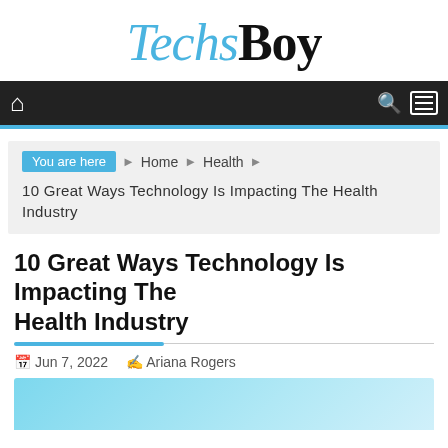TechsBoy
You are here › Home › Health
10 Great Ways Technology Is Impacting The Health Industry
10 Great Ways Technology Is Impacting The Health Industry
Jun 7, 2022   Ariana Rogers
[Figure (photo): Article header image showing health technology]